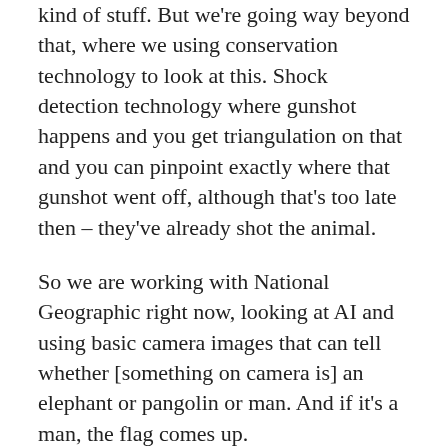kind of stuff. But we're going way beyond that, where we using conservation technology to look at this. Shock detection technology where gunshot happens and you get triangulation on that and you can pinpoint exactly where that gunshot went off, although that's too late then – they've already shot the animal.
So we are working with National Geographic right now, looking at AI and using basic camera images that can tell whether [something on camera is] an elephant or pangolin or man. And if it's a man, the flag comes up.
You can bring in more technology, like a helicopter or a drone. I think it's lovely that there's a combination of technology and old school stuff, where a drone can identify identify positively that there is a group of humans coming in and follow them, and at the same time, the vinyl record version